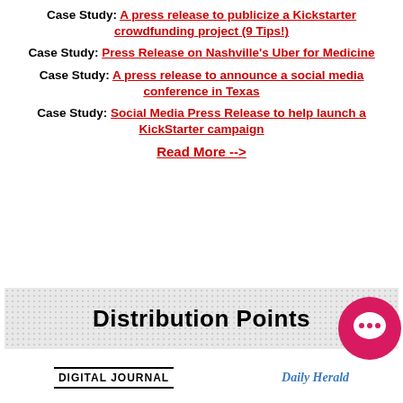Case Study: A press release to publicize a Kickstarter crowdfunding project (9 Tips!)
Case Study: Press Release on Nashville's Uber for Medicine
Case Study: A press release to announce a social media conference in Texas
Case Study: Social Media Press Release to help launch a KickStarter campaign
Read More -->
[Figure (infographic): Distribution Points banner with dotted grey background and circular chat bubble icon on the right side]
[Figure (logo): Digital Journal logo text in black bold capitals]
[Figure (logo): Daily Herald logo text in blue italic serif font]